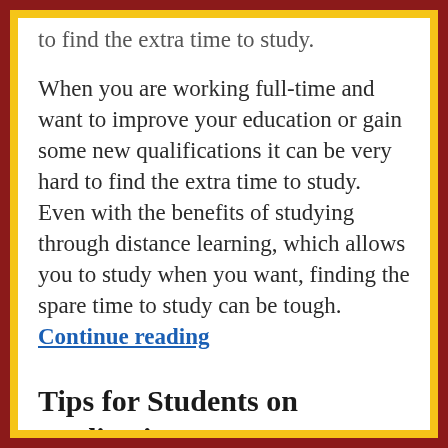to find the extra time to study.
When you are working full-time and want to improve your education or gain some new qualifications it can be very hard to find the extra time to study. Even with the benefits of studying through distance learning, which allows you to study when you want, finding the spare time to study can be tough. Continue reading
Tips for Students on Medications